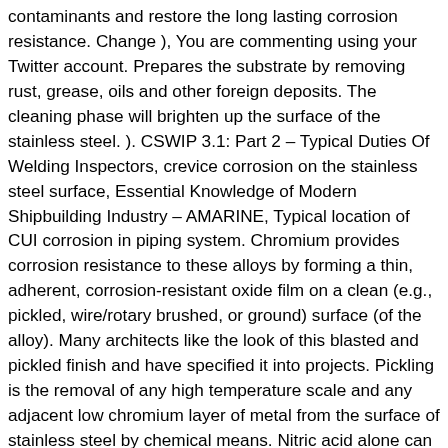contaminants and restore the long lasting corrosion resistance. Change ), You are commenting using your Twitter account. Prepares the substrate by removing rust, grease, oils and other foreign deposits. The cleaning phase will brighten up the surface of the stainless steel. ). CSWIP 3.1: Part 2 – Typical Duties Of Welding Inspectors, crevice corrosion on the stainless steel surface, Essential Knowledge of Modern Shipbuilding Industry – AMARINE, Typical location of CUI corrosion in piping system. Chromium provides corrosion resistance to these alloys by forming a thin, adherent, corrosion-resistant oxide film on a clean (e.g., pickled, wire/rotary brushed, or ground) surface (of the alloy). Many architects like the look of this blasted and pickled finish and have specified it into projects. Pickling is the removal of any high temperature scale and any adjacent low chromium layer of metal from the surface of stainless steel by chemical means. Nitric acid alone can be used to remove light surface iron contamination after which the acid facilitates the passivation of the cleaned steel surface. Right: A matt grey is left on annealed mill products following descaling and pickling.Mechanical scale loosening roughens the surface. These acids are also extremely corrosive to carbon steel contamination and should be thoroughly rinsed or washed after the process. The most common pickling solution used to remove scale